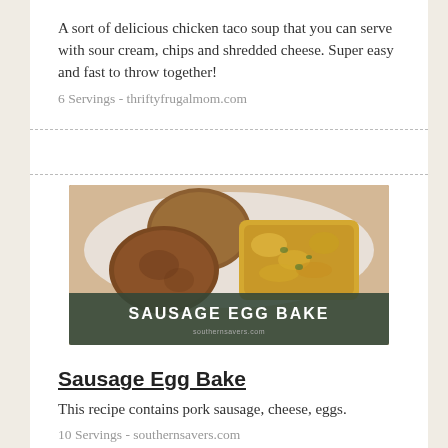A sort of delicious chicken taco soup that you can serve with sour cream, chips and shredded cheese. Super easy and fast to throw together!
6 Servings - thriftyfrugalmom.com
[Figure (photo): Photo of Sausage Egg Bake dish on a plate with label overlay reading SAUSAGE EGG BAKE]
Sausage Egg Bake
This recipe contains pork sausage, cheese, eggs.
10 Servings - southernsavers.com